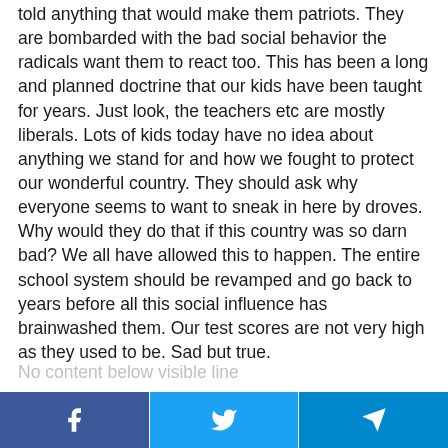told anything that would make them patriots. They are bombarded with the bad social behavior the radicals want them to react too. This has been a long and planned doctrine that our kids have been taught for years. Just look, the teachers etc are mostly liberals. Lots of kids today have no idea about anything we stand for and how we fought to protect our wonderful country. They should ask why everyone seems to want to sneak in here by droves. Why would they do that if this country was so darn bad? We all have allowed this to happen. The entire school system should be revamped and go back to years before all this social influence has brainwashed them. Our test scores are not very high as they used to be. Sad but true.
Share buttons: Facebook, Twitter, Telegram